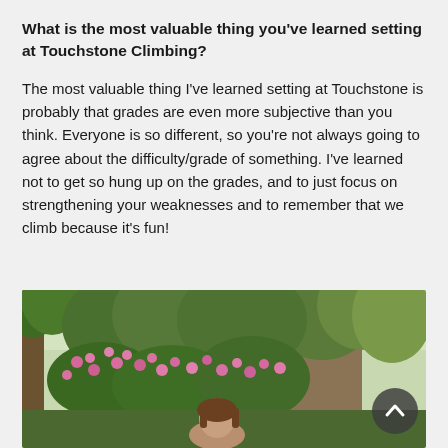What is the most valuable thing you've learned setting at Touchstone Climbing?
The most valuable thing I've learned setting at Touchstone is probably that grades are even more subjective than you think. Everyone is so different, so you're not always going to agree about the difficulty/grade of something. I've learned not to get so hung up on the grades, and to just focus on strengthening your weaknesses and to remember that we climb because it's fun!
[Figure (photo): Outdoor photo of a person among lush green trees and pink flowering bushes in a sunny natural setting]